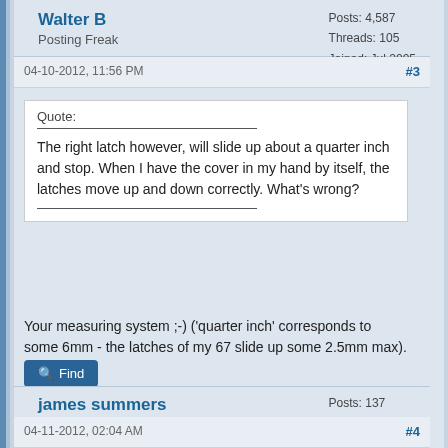Walter B
Posting Freak
Posts: 4,587
Threads: 105
Joined: Jul 2005
04-10-2012, 11:56 PM  #3
Quote:
The right latch however, will slide up about a quarter inch and stop. When I have the cover in my hand by itself, the latches move up and down correctly. What's wrong?
Your measuring system ;-) ('quarter inch' corresponds to some 6mm - the latches of my 67 slide up some 2.5mm max). HTH
Find
james summers
Member
Posts: 137
Threads: 11
Joined: Jul 2006
04-11-2012, 02:04 AM  #4